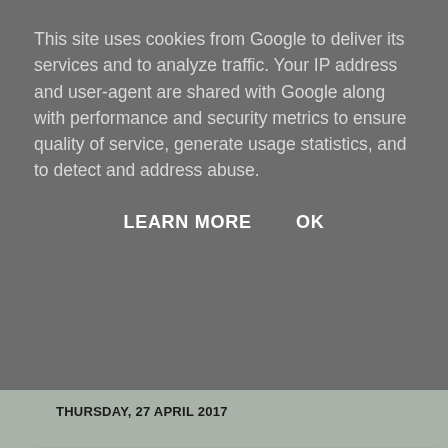This site uses cookies from Google to deliver its services and to analyze traffic. Your IP address and user-agent are shared with Google along with performance and security metrics to ensure quality of service, generate usage statistics, and to detect and address abuse.
LEARN MORE    OK
THURSDAY, 27 APRIL 2017
Our DIY kitchen makeover. Installing a new kitchen using Ikea Bodbyn Grey range. Our progress so far.
Our Ikea kitchen makeover using Bodbyn Grey
A couple of months ago we decided our kitchen desperately needed a makeover. Our first thought was to go for a lick of paint on the walls and some cupboard paint and a recover of the worktops using fablon style patterned coverings.
However we had to admit that it all just needed pulling out and a new